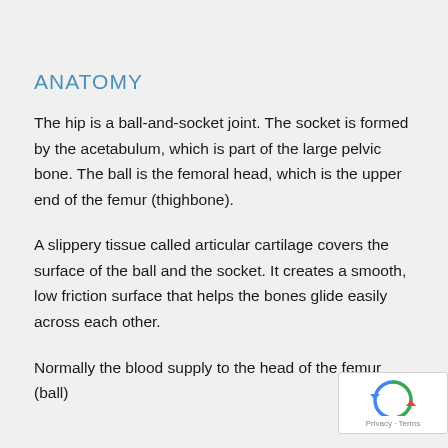ANATOMY
The hip is a ball-and-socket joint. The socket is formed by the acetabulum, which is part of the large pelvic bone. The ball is the femoral head, which is the upper end of the femur (thighbone).
A slippery tissue called articular cartilage covers the surface of the ball and the socket. It creates a smooth, low friction surface that helps the bones glide easily across each other.
Normally the blood supply to the head of the femur (ball)